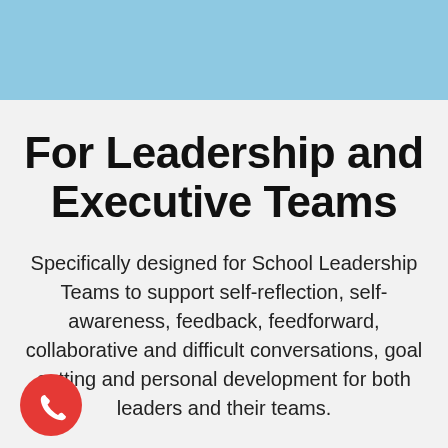[Figure (other): Light blue decorative header bar at the top of the page]
For Leadership and Executive Teams
Specifically designed for School Leadership Teams to support self-reflection, self-awareness, feedback, feedforward, collaborative and difficult conversations, goal setting and personal development for both leaders and their teams.
[Figure (illustration): Red circular button with a white phone/call icon]